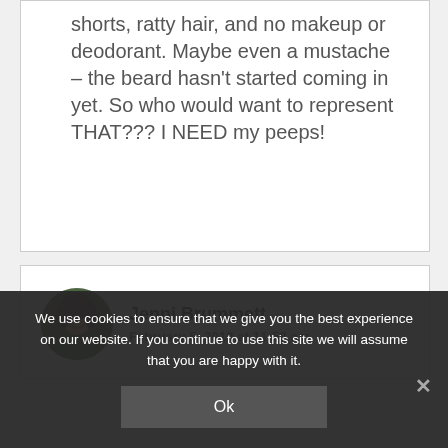shorts, ratty hair, and no makeup or deodorant. Maybe even a mustache – the beard hasn't started coming in yet. So who would want to represent THAT??? I NEED my peeps!
Jenni Brummett
February 5, 2013 at 11:52 am
We use cookies to ensure that we give you the best experience on our website. If you continue to use this site we will assume that you are happy with it.